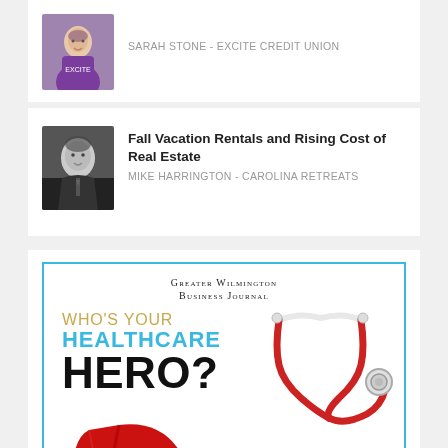[Figure (photo): Portrait photo of Sarah Stone, woman in purple top]
SARAH STONE - EXCITE CREDIT UNION
[Figure (photo): Headshot of Mike Harrington, man in suit, black and white]
Fall Vacation Rentals and Rising Cost of Real Estate
MIKE HARRINGTON - CAROLINA RETREATS
[Figure (illustration): Greater Wilmington Business Journal advertisement: WHO'S YOUR HEALTHCARE HERO? with superhero cape and stethoscope illustration]